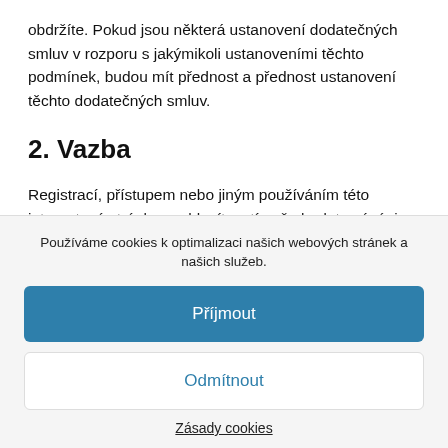obdržíte. Pokud jsou některá ustanovení dodatečných smluv v rozporu s jakýmikoli ustanoveními těchto podmínek, budou mít přednost a přednost ustanovení těchto dodatečných smluv.
2. Vazba
Registrací, přístupem nebo jiným používáním této internetové stránky souhlasíte s tím, že budete vázáni těmito podmínkami
Používáme cookies k optimalizaci našich webových stránek a našich služeb.
Příjmout
Odmítnout
Zásady cookies